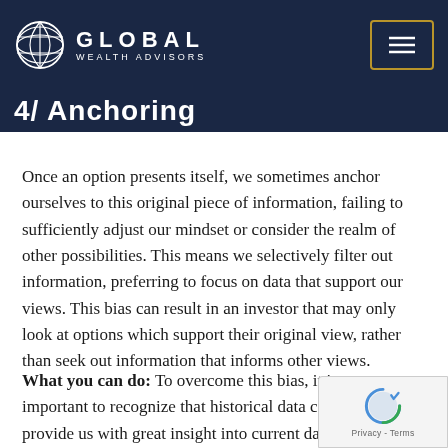GLOBAL WEALTH ADVISORS
4/ Anchoring
Once an option presents itself, we sometimes anchor ourselves to this original piece of information, failing to sufficiently adjust our mindset or consider the realm of other possibilities. This means we selectively filter out information, preferring to focus on data that support our views. This bias can result in an investor that may only look at options which support their original view, rather than seek out information that informs other views.
What you can do: To overcome this bias, it is important to recognize that historical data can provide us with great insight into current data, but we must ensure we